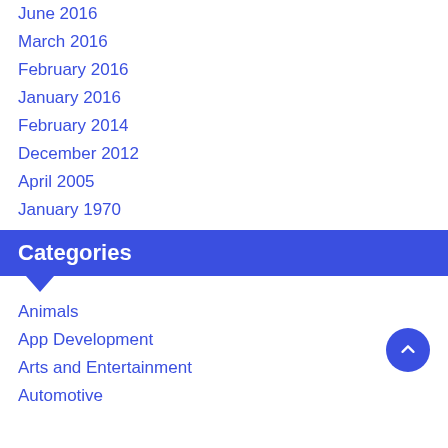June 2016
March 2016
February 2016
January 2016
February 2014
December 2012
April 2005
January 1970
Categories
Animals
App Development
Arts and Entertainment
Automotive